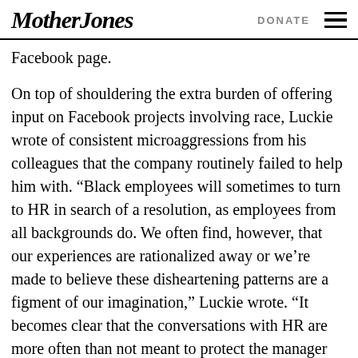Mother Jones | DONATE
Facebook page.
On top of shouldering the extra burden of offering input on Facebook projects involving race, Luckie wrote of consistent microaggressions from his colleagues that the company routinely failed to help him with. “Black employees will sometimes to turn to HR in search of a resolution, as employees from all backgrounds do. We often find, however, that our experiences are rationalized away or we’re made to believe these disheartening patterns are a figment of our imagination,” Luckie wrote. “It becomes clear that the conversations with HR are more often than not meant to protect the manager and the status quo of Facebook, not support the